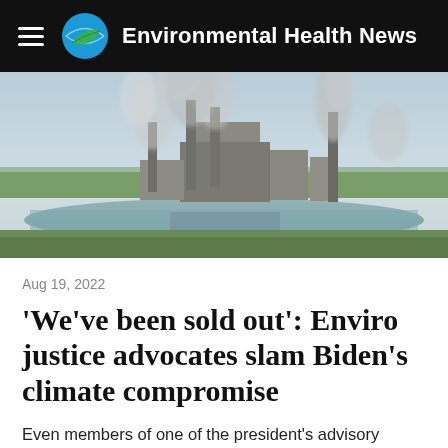Environmental Health News
[Figure (photo): Aerial view of an industrial power plant with multiple smokestacks emitting large plumes of white smoke, situated next to a river with flat green landscape in the background.]
Aug 19, 2022
'We've been sold out': Enviro justice advocates slam Biden's climate compromise
Even members of one of the president's advisory councils say communities burdened by pollution are being shortchanged by Democrats' grandest